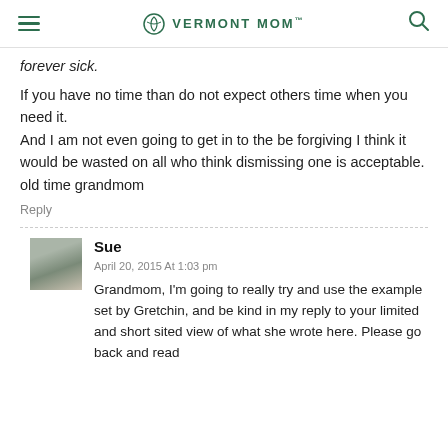VERMONT MOM
forever sick.
If you have no time than do not expect others time when you need it.
And I am not even going to get in to the be forgiving I think it would be wasted on all who think dismissing one is acceptable.
old time grandmom
Reply
Sue
April 20, 2015 At 1:03 pm
Grandmom, I'm going to really try and use the example set by Gretchin, and be kind in my reply to your limited and short sited view of what she wrote here. Please go back and read